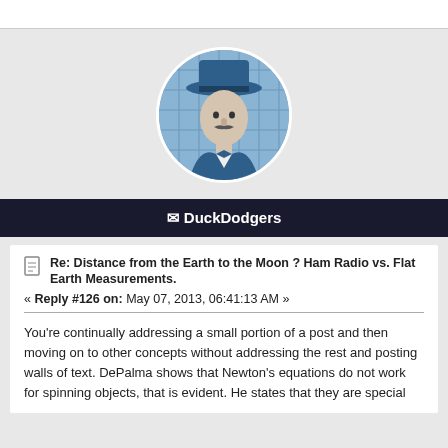[Figure (illustration): Circular avatar image of a man wearing a hat, illustrated in blue tones, against a light blue background with grid lines.]
✉ DuckDodgers
Re: Distance from the Earth to the Moon ? Ham Radio vs. Flat Earth Measurements.
« Reply #126 on: May 07, 2013, 06:41:13 AM »
You're continually addressing a small portion of a post and then moving on to other concepts without addressing the rest and posting walls of text.  DePalma shows that Newton's equations do not work for spinning objects, that is evident.  He states that they are special